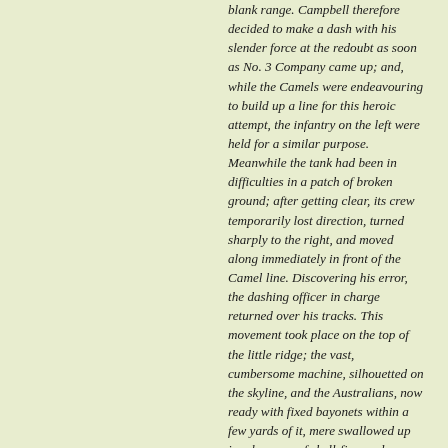blank range. Campbell therefore decided to make a dash with his slender force at the redoubt as soon as No. 3 Company came up; and, while the Camels were endeavouring to build up a line for this heroic attempt, the infantry on the left were held for a similar purpose. Meanwhile the tank had been in difficulties in a patch of broken ground; after getting clear, its crew temporarily lost direction, turned sharply to the right, and moved along immediately in front of the Camel line. Discovering his error, the dashing officer in charge returned over his tracks. This movement took place on the top of the little ridge; the vast, cumbersome machine, silhouetted on the skyline, and the Australians, now ready with fixed bayonets within a few yards of it, mere swallowed up in a barrage of shell-fire, and many men were hit.